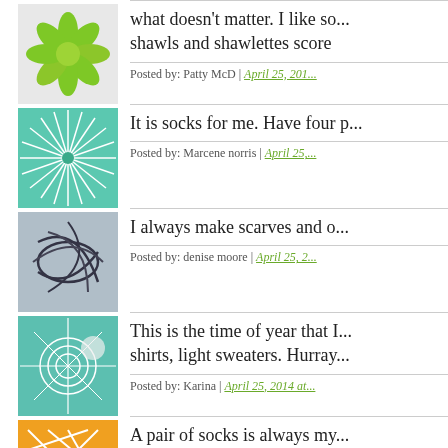[Figure (illustration): Green flower/leaf pattern avatar icon]
what doesn't matter. I like so... shawls and shawlettes score
Posted by: Patty McD | April 25, 201...
[Figure (illustration): Teal starburst/web pattern avatar icon]
It is socks for me. Have four p...
Posted by: Marcene norris | April 25,...
[Figure (illustration): Blue-grey abstract lines pattern avatar icon]
I always make scarves and o...
Posted by: denise moore | April 25, 2...
[Figure (illustration): Teal grid/web pattern avatar icon]
This is the time of year that I... shirts, light sweaters. Hurray...
Posted by: Karina | April 25, 2014 at...
[Figure (illustration): Orange geometric lines pattern avatar icon]
A pair of socks is always my... or a simple pattern repeat. Th... 5 minutes here, 10 minutes th... delicious socks, bright colors... stray for a mitten, hat, scarf/s...